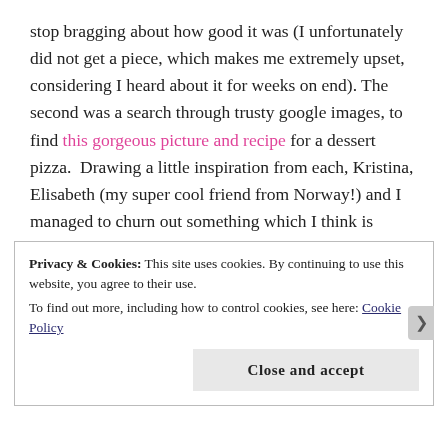stop bragging about how good it was (I unfortunately did not get a piece, which makes me extremely upset, considering I heard about it for weeks on end). The second was a search through trusty google images, to find this gorgeous picture and recipe for a dessert pizza.  Drawing a little inspiration from each, Kristina, Elisabeth (my super cool friend from Norway!) and I managed to churn out something which I think is pretty wonderful.  Ridiculous thing that never happens in my kitchen: somehow Kristina does not own dry ingredient measuring cups, so things like flour and brown sugar were measured in a gravy mixer.
Privacy & Cookies: This site uses cookies. By continuing to use this website, you agree to their use.
To find out more, including how to control cookies, see here: Cookie Policy
Close and accept